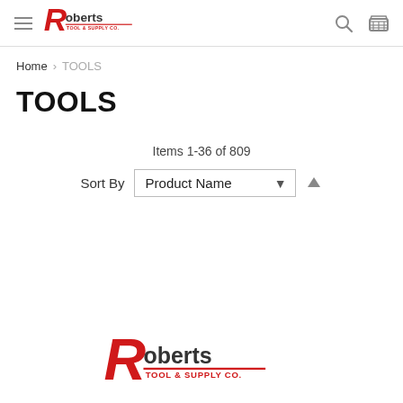[Figure (logo): Roberts Tool & Supply Co. logo with red stylized R and text]
Home › TOOLS
TOOLS
Items 1-36 of 809
Sort By  Product Name ↑
[Figure (logo): Roberts Tool & Supply Co. logo watermark at bottom of page]